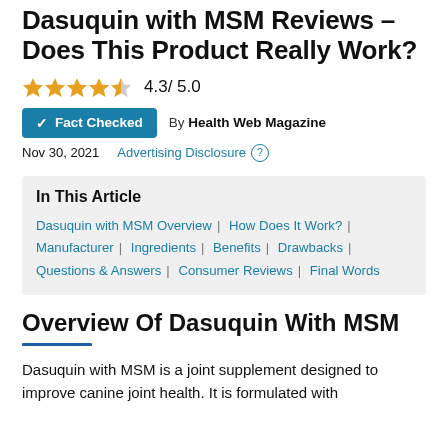Dasuquin with MSM Reviews – Does This Product Really Work?
4.3/ 5.0
Fact Checked   By Health Web Magazine
Nov 30, 2021   Advertising Disclosure
In This Article
Dasuquin with MSM Overview | How Does It Work? | Manufacturer | Ingredients | Benefits | Drawbacks | Questions & Answers | Consumer Reviews | Final Words
Overview Of Dasuquin With MSM
Dasuquin with MSM is a joint supplement designed to improve canine joint health. It is formulated with